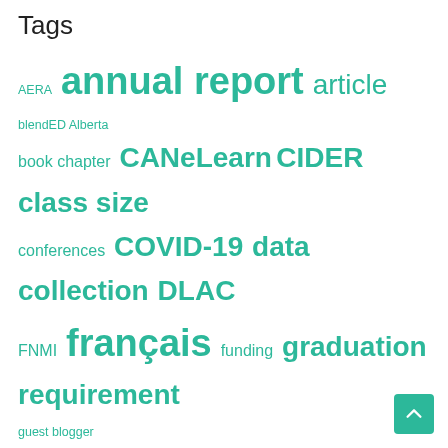Tags
AERA annual report article blendED Alberta book chapter CANeLearn CIDER class size conferences COVID-19 data collection DLAC FNMI français funding graduation requirement guest blogger Handbook of research on K-12 online and blended learning higher education iNACOL Information and Communications Technology Council MindShare Learning Report news article news commentary news release OECD Ontario Ontario Teachers' Federation open scholarship Organisation for Economic Co-operation and Development People for Education podcast post-secondary presentation Quebec remote teaching